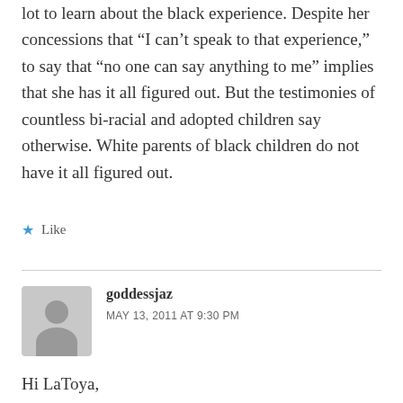lot to learn about the black experience. Despite her concessions that “I can’t speak to that experience,” to say that “no one can say anything to me” implies that she has it all figured out. But the testimonies of countless bi-racial and adopted children say otherwise. White parents of black children do not have it all figured out.
★ Like
goddessjaz
MAY 13, 2011 AT 9:30 PM
Hi LaToya,